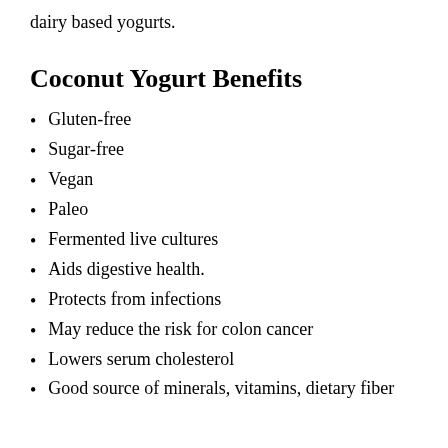dairy based yogurts.
Coconut Yogurt Benefits
Gluten-free
Sugar-free
Vegan
Paleo
Fermented live cultures
Aids digestive health.
Protects from infections
May reduce the risk for colon cancer
Lowers serum cholesterol
Good source of minerals, vitamins, dietary fiber